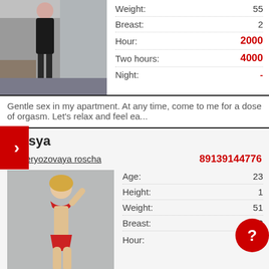[Figure (photo): Woman in black lingerie and stockings]
| Field | Value |
| --- | --- |
| Weight: | 55 |
| Breast: | 2 |
| Hour: | 2000 |
| Two hours: | 4000 |
| Night: | - |
Gentle sex in my apartment. At any time, come to me for a dose of orgasm. Let's relax and feel ea...
Olesya
Beryozovaya roscha   89139144776
[Figure (photo): Woman in red bikini]
| Field | Value |
| --- | --- |
| Age: | 23 |
| Height: | 1... |
| Weight: | 51 |
| Breast: | 2 |
| Hour: | 2000 |